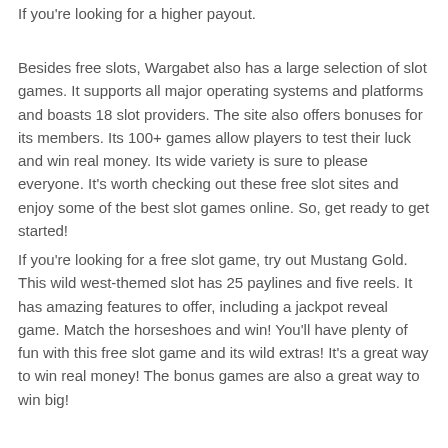If you're looking for a higher payout.
Besides free slots, Wargabet also has a large selection of slot games. It supports all major operating systems and platforms and boasts 18 slot providers. The site also offers bonuses for its members. Its 100+ games allow players to test their luck and win real money. Its wide variety is sure to please everyone. It's worth checking out these free slot sites and enjoy some of the best slot games online. So, get ready to get started!
If you're looking for a free slot game, try out Mustang Gold. This wild west-themed slot has 25 paylines and five reels. It has amazing features to offer, including a jackpot reveal game. Match the horseshoes and win! You'll have plenty of fun with this free slot game and its wild extras! It's a great way to win real money! The bonus games are also a great way to win big!